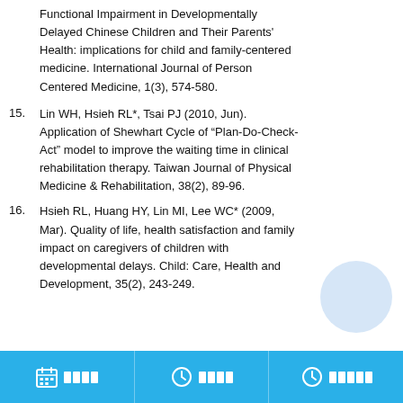Functional Impairment in Developmentally Delayed Chinese Children and Their Parents' Health: implications for child and family-centered medicine. International Journal of Person Centered Medicine, 1(3), 574-580.
15. Lin WH, Hsieh RL*, Tsai PJ (2010, Jun). Application of Shewhart Cycle of “Plan-Do-Check-Act” model to improve the waiting time in clinical rehabilitation therapy. Taiwan Journal of Physical Medicine & Rehabilitation, 38(2), 89-96.
16. Hsieh RL, Huang HY, Lin MI, Lee WC* (2009, Mar). Quality of life, health satisfaction and family impact on caregivers of children with developmental delays. Child: Care, Health and Development, 35(2), 243-249.
[calendar icon] [text] [clock icon] [text] [clock icon] [text]